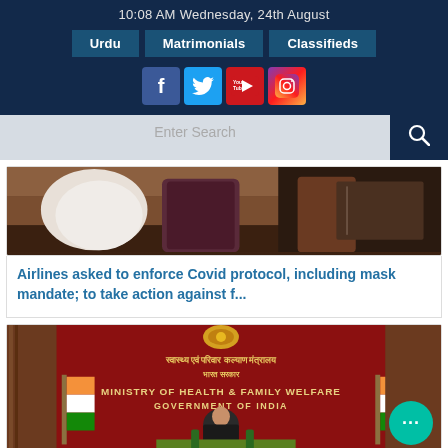10:08 AM Wednesday, 24th August
Urdu | Matrimonials | Classifieds
[Figure (screenshot): Social media icons: Facebook, Twitter, YouTube, Instagram]
[Figure (screenshot): Search bar with Enter Search placeholder and search icon]
[Figure (photo): Photo of airline passengers inside an airplane cabin]
Airlines asked to enforce Covid protocol, including mask mandate; to take action against f...
[Figure (photo): Photo of Ministry of Health & Family Welfare, Government of India press conference with official at podium in front of red backdrop with Hindi and English text]